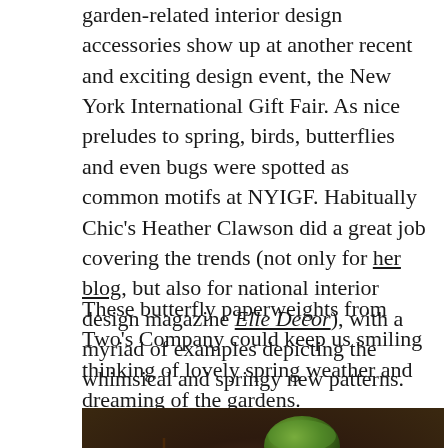garden-related interior design accessories show up at another recent and exciting design event, the New York International Gift Fair. As nice preludes to spring, birds, butterflies and even bugs were spotted as common motifs at NYIGF. Habitually Chic's Heather Clawson did a great job covering the trends (not only for her blog, but also for national interior design magazine Elle Decor), with a myriad of examples depicting the whimsical and springy new patterns.
These butterfly paperweights from Two's Company could keep us smiling thinking of lovely spring weather and dreaming of the gardens.
[Figure (photo): A photo of butterfly paperweights on dark wooden display stands, with decorative eggs, a green bowl, and scattered items on a table surface.]